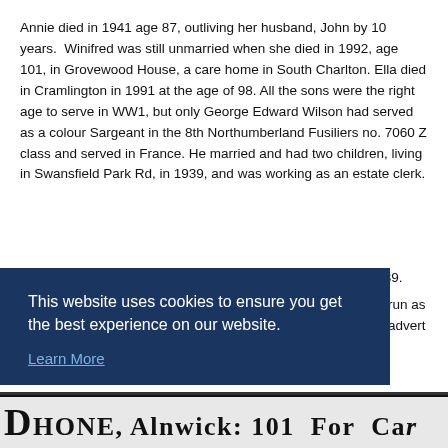Annie died in 1941 age 87, outliving her husband, John by 10 years. Winifred was still unmarried when she died in 1992, age 101, in Grovewood House, a care home in South Charlton. Ella died in Cramlington in 1991 at the age of 98. All the sons were the right age to serve in WW1, but only George Edward Wilson had served as a colour Sargeant in the 8th Northumberland Fusiliers no. 7060 Z class and served in France. He married and had two children, living in Swansfield Park Rd, in 1939, and was working as an estate clerk.
Thomas Wilson was a caretaker in a fishing rod factory, in 1939.
run as advert
[Figure (photo): Partial view of a newspaper clipping showing text 'DHONE, Alnwick: 101 For Car...' in bold serif font]
This website uses cookies to ensure you get the best experience on our website.
Learn More
Close